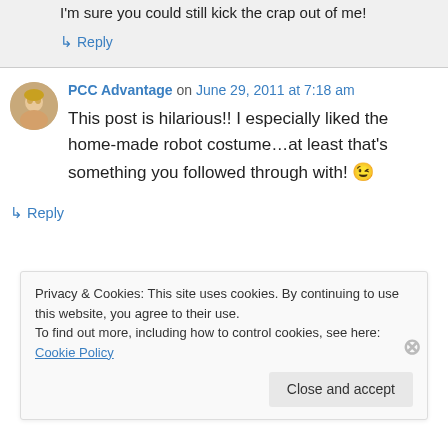I'm sure you could still kick the crap out of me!
↳ Reply
PCC Advantage on June 29, 2011 at 7:18 am
This post is hilarious!! I especially liked the home-made robot costume…at least that's something you followed through with! 😉
↳ Reply
Privacy & Cookies: This site uses cookies. By continuing to use this website, you agree to their use.
To find out more, including how to control cookies, see here: Cookie Policy
Close and accept